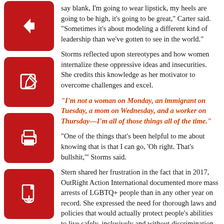say blank, I'm going to wear lipstick, my heels are going to be high, it's going to be great," Carter said. "Sometimes it's about modeling a different kind of leadership than we've gotten to see in the world."
Storms reflected upon stereotypes and how women internalize these oppressive ideas and insecurities. She credits this knowledge as her motivator to overcome challenges and excel.
"I'm not a woman on Monday, an immigrant on Tuesday, a mom on Wednesday, and a worker on Thursday—I'm all of those things all of the time."
"One of the things that's been helpful to me about knowing that is that I can go, 'Oh right. That's bullshit,'" Storms said.
Stern shared her frustration in the fact that in 2017, OutRight Action International documented more mass arrests of LGBTQ+ people than in any other year on record. She expressed the need for thorough laws and policies that would actually protect people's abilities to live safely, inclusively and without discrimination.
Nandagopal concluded that in starting with the most marginalized folks, solutions oftentimes do not look intersectional at first. However, she asserts that the solution will have intersectional results.
"It's going to have an intersectional solution in the long run because